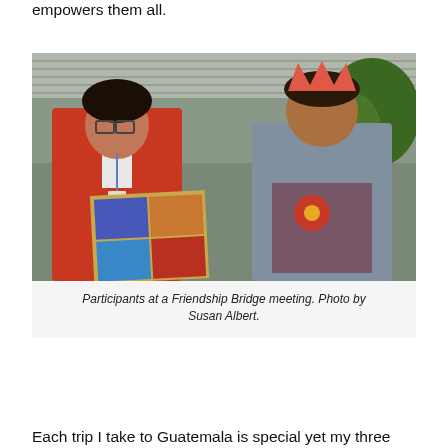empowers them all.
[Figure (photo): Two women at a Friendship Bridge meeting. One woman on the left in a red jacket holds a colorful poster board with photos. The woman on the right wears a pink paper crown and a patterned sweater. They are seated outdoors in front of a corrugated metal roof and block wall with a green tree in the background.]
Participants at a Friendship Bridge meeting. Photo by Susan Albert.
Each trip I take to Guatemala is special yet my three